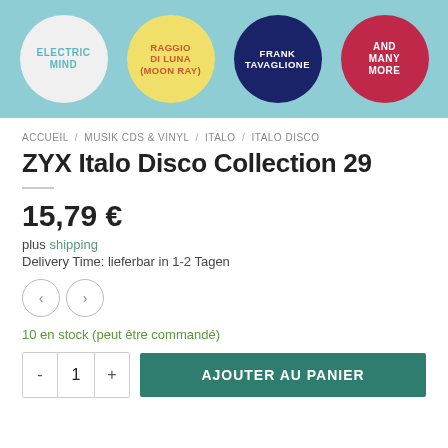[Figure (illustration): Banner with four colored circles on a teal/light-blue background. Circles from left to right: white circle with 'ELECTRIC MIND' in teal text, yellow circle with 'RAGGIO DI LUNA (MOON RAY)' in orange text, dark navy circle with 'FRANK TAVAGLIONE' in white text, dark red/crimson circle with 'AND MANY MORE' in white text.]
ACCUEIL / MUSIK CDS & VINYL / ITALO / ITALO DISCO
ZYX Italo Disco Collection 29
15,79 €
plus shipping
Delivery Time: lieferbar in 1-2 Tagen
10 en stock (peut être commandé)
- 1 + AJOUTER AU PANIER